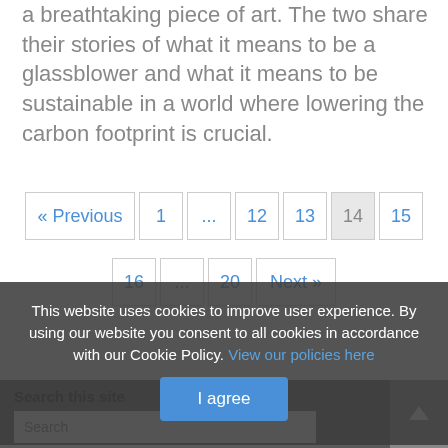a breathtaking piece of art. The two share their stories of what it means to be a glassblower and what it means to be sustainable in a world where lowering the carbon footprint is crucial.
« Previous  1  ...  12  13  14  15  16  ...  20  Next »
This website uses cookies to improve user experience. By using our website you consent to all cookies in accordance with our Cookie Policy. View our policies here
I agree
Search this site
Search